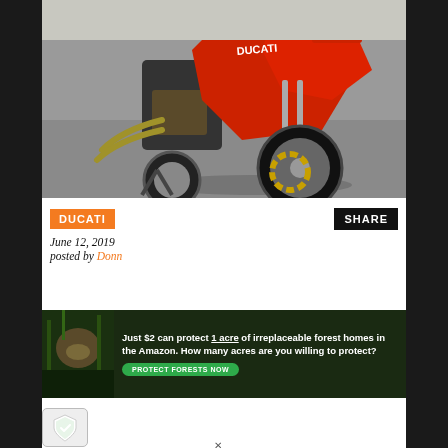[Figure (photo): Red Ducati motorcycle photographed from the front-left angle on a paved surface, showing front wheel, forks, engine, and fairing]
DUCATI
SHARE
June 12, 2019
posted by Donn
[Figure (photo): Advertisement banner: Just $2 can protect 1 acre of irreplaceable forest homes in the Amazon. How many acres are you willing to protect? PROTECT FORESTS NOW]
[Figure (other): Security shield icon badge (green checkmark on shield)]